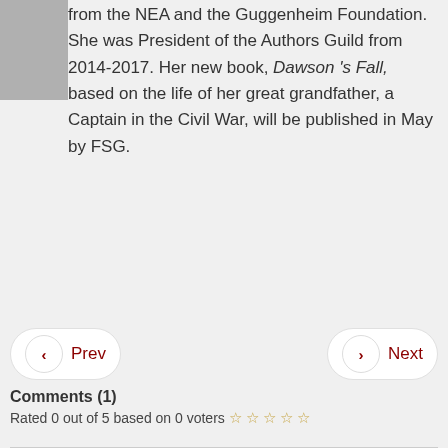[Figure (photo): Gray image placeholder in top-left corner]
from the NEA and the Guggenheim Foundation. She was President of the Authors Guild from 2014-2017. Her new book, Dawson 's Fall, based on the life of her great grandfather, a Captain in the Civil War, will be published in May by FSG.
Prev
Next
Comments (1)
Rated 0 out of 5 based on 0 voters